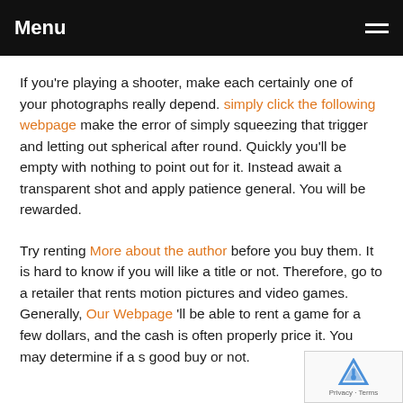Menu
If you're playing a shooter, make each certainly one of your photographs really depend. simply click the following webpage make the error of simply squeezing that trigger and letting out spherical after round. Quickly you'll be empty with nothing to point out for it. Instead await a transparent shot and apply patience general. You will be rewarded.
Try renting More about the author before you buy them. It is hard to know if you will like a title or not. Therefore, go to a retailer that rents motion pictures and video games. Generally, Our Webpage 'll be able to rent a game for a few dollars, and the cash is often properly price it. You may determine if a s good buy or not.